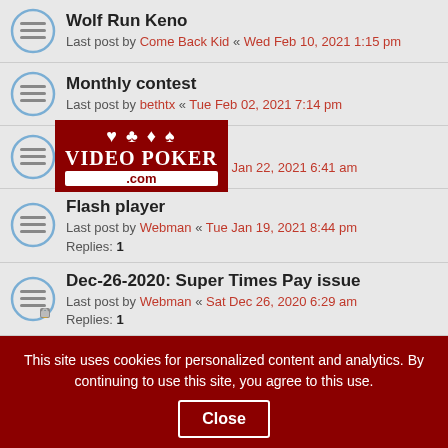Wolf Run Keno
Last post by Come Back Kid « Wed Feb 10, 2021 1:15 pm
Monthly contest
Last post by bethtx « Tue Feb 02, 2021 7:14 pm
[Figure (logo): VideoPoker.com watermark logo with card suits]
Speed of Games
Last post by Leeknows « Fri Jan 22, 2021 6:41 am
Flash player
Last post by Webman « Tue Jan 19, 2021 8:44 pm
Replies: 1
Dec-26-2020: Super Times Pay issue
Last post by Webman « Sat Dec 26, 2020 6:29 am
Replies: 1
Quick Quads payout error
Last post by davidearl « Mon Dec 14, 2020 7:33 pm
Replies: 8
Posting in the Forum
Last post by Leeknows « Thu Nov 12, 2020 5:23 pm
Replies: 2
This site uses cookies for personalized content and analytics. By continuing to use this site, you agree to this use. Close